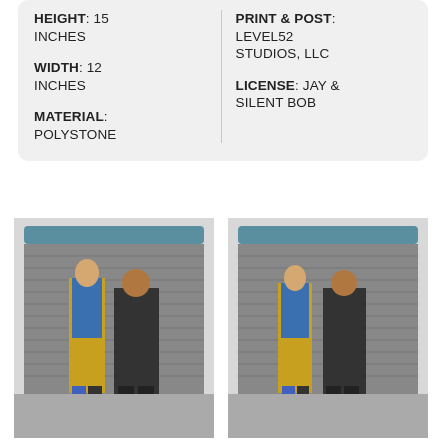HEIGHT: 15 INCHES
WIDTH: 12 INCHES
MATERIAL: POLYSTONE
PRINT & POST: LEVEL52 STUDIOS, LLC
LICENSE: JAY & SILENT BOB
[Figure (photo): Front view of Jay and Silent Bob polystone statue figures standing in front of a metal garage door diorama base]
[Figure (photo): Side/angle view of Jay and Silent Bob polystone statue figures standing in front of a metal garage door diorama base]